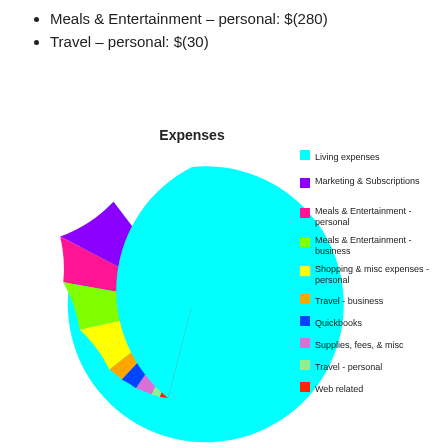Meals & Entertainment – personal: $(280)
Travel – personal: $(30)
[Figure (pie-chart): Expenses]